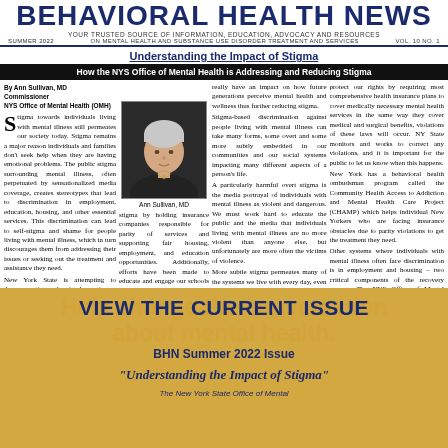BEHAVIORAL HEALTH NEWS
YOUR TRUSTED SOURCE OF INFORMATION, EDUCATION, ADVOCACY AND RESOURCES
SUMMER 2022  ON MENTAL HEALTH AND SUBSTANCE USE DISORDER TREATMENT AND SERVICES  VOL. 10 NO. 1
Understanding the Impact of Stigma
How the NYS Office of Mental Health is Addressing and Reducing Stigma
By Ann Sullivan, MD
Commissioner
NYS Office of Mental Health (OMH)
Stigma towards individuals living with mental illness still permeates our society today. Stigma remains a major reason individuals and families don't seek help when they are having emotional problems. The public stigma surrounding mental illness, often perpetuated by sensationalized media coverage, creates stereotypes that lead to discrimination in employment, education, housing, and other essential services. This discrimination can lead to self-stigma and shame for people living with mental illness, which in turn discourages them from addressing their issues or seeking out the treatment and assistance they need.

New York State is attempting to decrease stigma by implementing a robust effort to educate the public about the misconceptions of mental illness, while at the same time taking action to address the impact of discrimination and stigma from stigma by holding insurance companies responsible for parity of services and supporting fair housing, employment, and education opportunities. Additionally, efforts have been made to educate and engage our schools so that children and young adults can really have an impact on how future generations perceive mental health and wellness thus further reducing stigma.

Stigma-based discrimination against people living with mental illness can take many forms, some overt and some more subtly embedded in our communities and our social systems impacting many different aspects of a person's life.

A particularly harmful overt stigma is the media portrayal of individuals with mental illness as violent and dangerous. We must work hard to educate the public and the media that individuals living with mental illness are no more violent than anyone else, but unfortunately are more often the victims of violence.

More subtle stigma permeates many of the systems we live with every day, even in healthcare. For many years, health insurance companies have discriminated against people with mental illness by not covering mental healthcare treatment or medications in the same way they cover treatment for physical illnesses. While New York State has strong parity laws, which, together with federal measures protect our rights by requiring most comprehensive health insurance plans to cover medically necessary mental health services in the same way they cover medical and surgical benefits, violations of these laws will occur. NY State monitors and works to correct any violations, and it is important for the public to let us know when this happens.

New York has a behavioral health ombudsman program called the Community Health Access to Addiction and Mental Health Care Project (CHAMP) which helps individual New Yorkers who are facing insurance obstacles due to parity violations to get the treatment they need.

Other systems where individuals with mental illness often face discrimination is in employment and housing – two critical components of the recovery process. The NYS Office of Mental Health (OMH) is partnering with community groups and organizations across the state to help educate individuals and families about their rights and the laws that protect against housing
[Figure (photo): Photo of Ann Sullivan, MD - a woman with short silver/white hair wearing a dark jacket and necklace]
Ann Sullivan, MD
VIEW THE CURRENT ISSUE
BHN Summer 2022 Issue
"Understanding the Impact of Stigma"
The New York State Office of Mental Health...